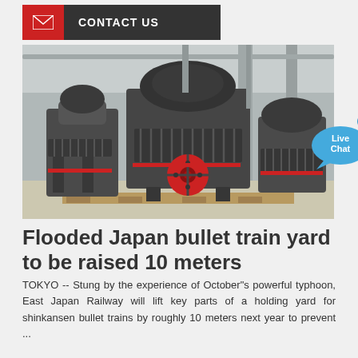[Figure (screenshot): Contact Us button with red envelope icon on left and dark background with white text on right]
[Figure (photo): Industrial cone crushers/mining equipment in a factory/warehouse setting. Large grey machinery with red components on wooden pallets.]
Flooded Japan bullet train yard to be raised 10 meters
TOKYO -- Stung by the experience of October"s powerful typhoon, East Japan Railway will lift key parts of a holding yard for shinkansen bullet trains by roughly 10 meters next year to prevent ...